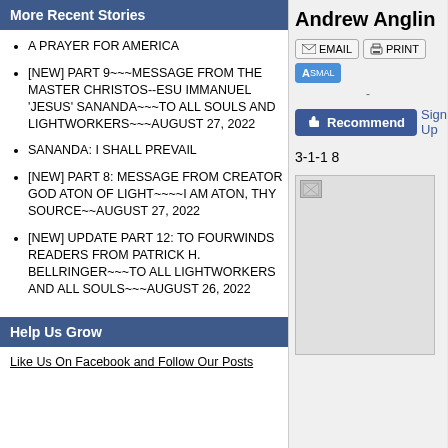More Recent Stories
A PRAYER FOR AMERICA
[NEW] PART 9~~~MESSAGE FROM THE MASTER CHRISTOS--ESU IMMANUEL 'JESUS' SANANDA~~~TO ALL SOULS AND LIGHTWORKERS~~~AUGUST 27, 2022
SANANDA: I SHALL PREVAIL
[NEW] PART 8: MESSAGE FROM CREATOR GOD ATON OF LIGHT~~~~I AM ATON, THY SOURCE~~AUGUST 27, 2022
[NEW] UPDATE PART 12: TO FOURWINDS READERS FROM PATRICK H. BELLRINGER~~~TO ALL LIGHTWORKERS AND ALL SOULS~~~AUGUST 26, 2022
Help Us Grow
Like Us On Facebook and Follow Our Posts
Andrew Anglin
EMAIL   PRINT   SMALL
-
Recommend   Sign Up
3-1-1 8
[Figure (other): Broken image placeholder]